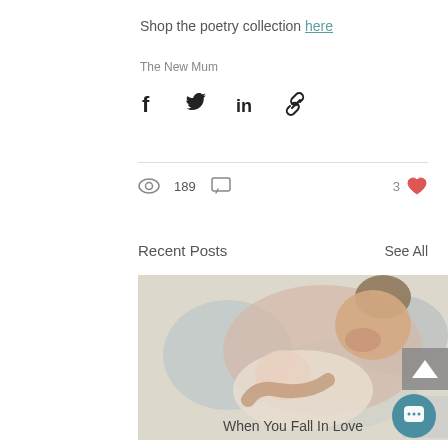Shop the poetry collection here
The New Mum
[Figure (infographic): Social sharing icons: Facebook, Twitter, LinkedIn, link/chain]
189 views, 0 comments, 3 likes
Recent Posts
See All
[Figure (photo): Watercolor illustration of a mother kissing her newborn baby]
When You Fall In Love